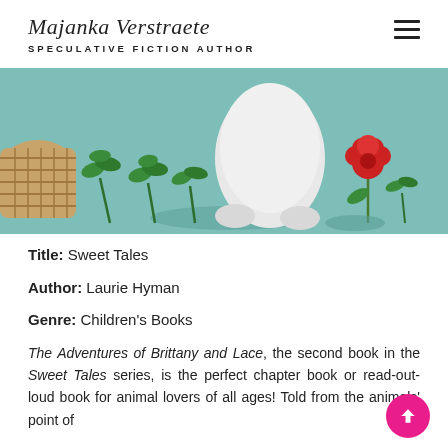Majanka Verstraete
SPECULATIVE FICTION AUTHOR
[Figure (illustration): Partial book cover illustration showing bottom portion with a teal/green background, green plant sprigs, white cat paws, a red flower, and a wicker basket on the left edge.]
Title: Sweet Tales
Author: Laurie Hyman
Genre: Children's Books
The Adventures of Brittany and Lace, the second book in the Sweet Tales series, is the perfect chapter book or read-out-loud book for animal lovers of all ages! Told from the animals' point of